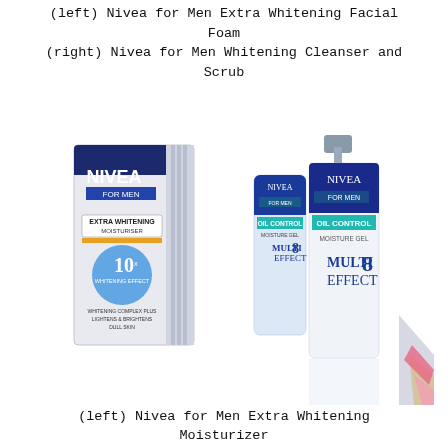(left) Nivea for Men Extra Whitening Facial Foam
(right) Nivea for Men Whitening Cleanser and Scrub
[Figure (photo): Two Nivea for Men product photos side by side. Left: Nivea for Men Extra Whitening Moisturizer box (white and dark blue, showing EXTRA WHITENING MOISTURISER with 10x Whitening Effect). Right: Two Nivea for Men Oil Control Moisture Gel Multi Effect 8 products, with reflection visible below. Decorative geometric shapes in pink, gray, and gold appear on the bottom right.]
(left) Nivea for Men Extra Whitening Moisturizer